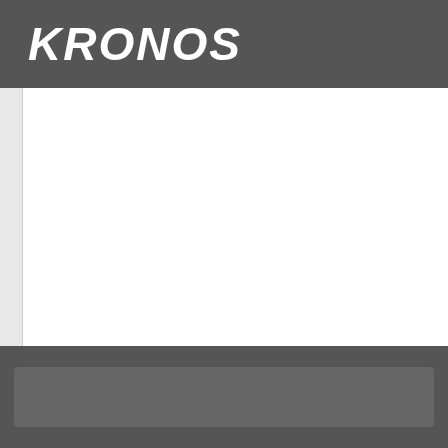KRONOS
[Figure (logo): Kronos logo in white italic bold text on dark grey header bar]